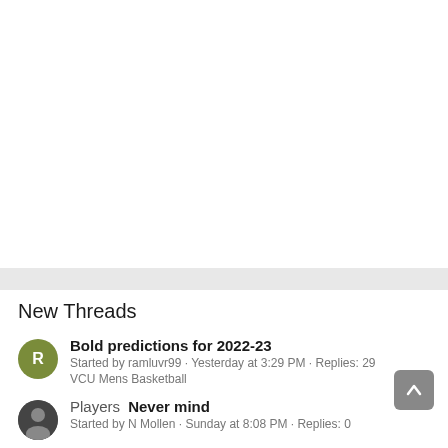New Threads
Bold predictions for 2022-23
Started by ramluvr99 · Yesterday at 3:29 PM · Replies: 29
VCU Mens Basketball
Players  Never mind
Started by N Mollen · Sunday at 8:08 PM · Replies: 0